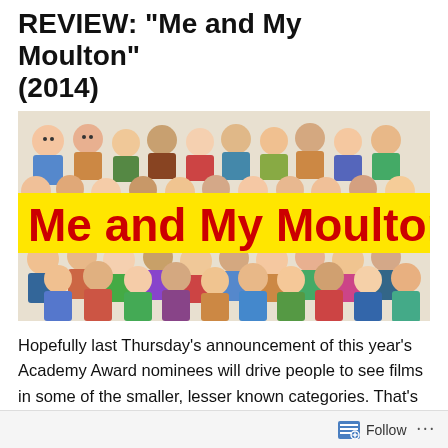REVIEW: "Me and My Moulton" (2014)
[Figure (illustration): Animated crowd of cartoon people in colorful clothing filling the frame, with a large yellow banner overlay reading 'Me and My Moulton' in bold red text.]
Hopefully last Thursday's announcement of this year's Academy Award nominees will drive people to see films in some of the smaller, lesser known categories. That's one
Follow  ...